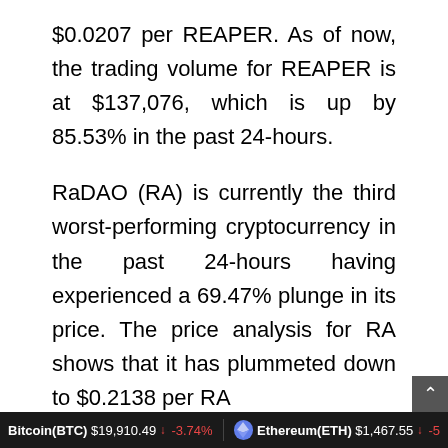$0.0207 per REAPER. As of now, the trading volume for REAPER is at $137,076, which is up by 85.53% in the past 24-hours.
RaDAO (RA) is currently the third worst-performing cryptocurrency in the past 24-hours having experienced a 69.47% plunge in its price. The price analysis for RA shows that it has plummeted down to $0.2138 per RA
Bitcoin(BTC) $19,910.49 ↓ -3.74%   Ethereum(ETH) $1,467.55 ↓ -5